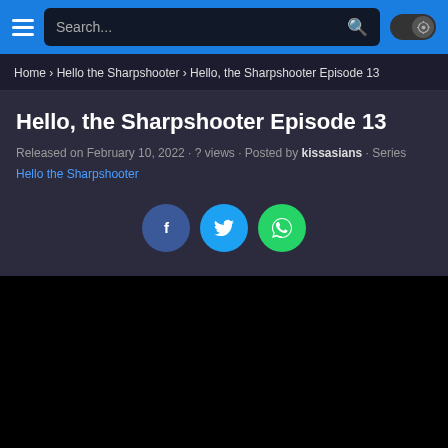Search...
Home › Hello the Sharpshooter › Hello, the Sharpshooter Episode 13
Hello, the Sharpshooter Episode 13
Released on February 10, 2022 · ? views · Posted by kissasians · Series Hello the Sharpshooter
[Figure (other): Social share buttons: Facebook (blue circle with f), Twitter (blue circle with bird), WhatsApp (green circle with phone)]
[Figure (other): Black video player area (no content loaded)]